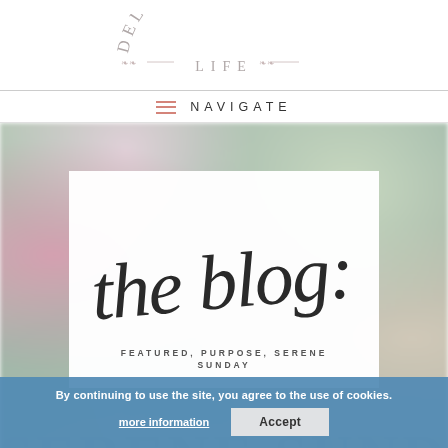DELIGHTSOME LIFE
≡  NAVIGATE
[Figure (screenshot): Blurred floral tea party photo background with a white card overlay containing 'the blog:' in script font, and text 'FEATURED, PURPOSE, SERENE SUNDAY' below. Large watermark text 'SERENE SUNDAY' visible in background. Blue cookie consent banner at bottom with text 'By continuing to use the site, you agree to the use of cookies. more information' and Accept button.]
FEATURED, PURPOSE, SERENE SUNDAY
By continuing to use the site, you agree to the use of cookies. more information   Accept